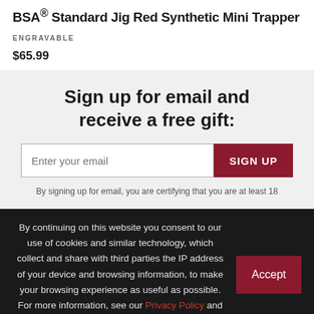BSA® Standard Jig Red Synthetic Mini Trapper
ENGRAVABLE
$65.99
Sign up for email and receive a free gift:
Enter your email
SIGN UP
By signing up for email, you are certifying that you are at least 18
By continuing on this website you consent to our use of cookies and similar technology, which collect and share with third parties the IP address of your device and browsing information, to make your browsing experience as useful as possible. For more information, see our Privacy Policy and Cookie Policy
Accept